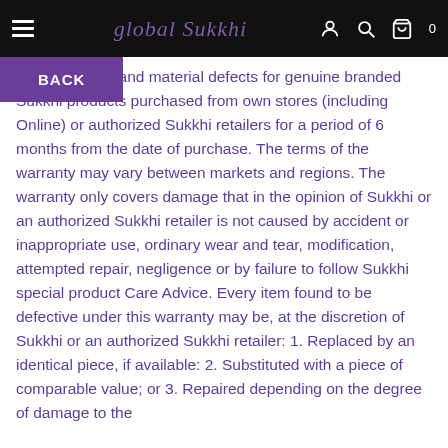global sukkhi [hamburger menu, user icon, search icon, cart icon with 0]
manufacturing and material defects for genuine branded Sukkhi products purchased from own stores (including Online) or authorized Sukkhi retailers for a period of 6 months from the date of purchase. The terms of the warranty may vary between markets and regions. The warranty only covers damage that in the opinion of Sukkhi or an authorized Sukkhi retailer is not caused by accident or inappropriate use, ordinary wear and tear, modification, attempted repair, negligence or by failure to follow Sukkhi special product Care Advice. Every item found to be defective under this warranty may be, at the discretion of Sukkhi or an authorized Sukkhi retailer: 1. Replaced by an identical piece, if available: 2. Substituted with a piece of comparable value; or 3. Repaired depending on the degree of damage to the